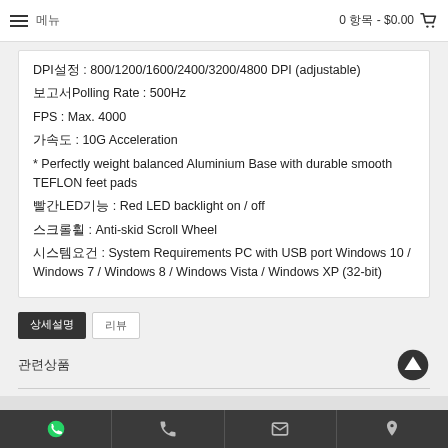☰ 메뉴   0 항목 - $0.00 🛒
DPI설정 : 800/1200/1600/2400/3200/4800 DPI (adjustable)
보고서Polling Rate : 500Hz
FPS : Max. 4000
가속도 : 10G Acceleration
* Perfectly weight balanced Aluminium Base with durable smooth TEFLON feet pads
빨간LED기능 : Red LED backlight on / off
스크롤휠 : Anti-skid Scroll Wheel
시스템요건 : System Requirements PC with USB port Windows 10 / Windows 7 / Windows 8 / Windows Vista / Windows XP (32-bit)
상세설명
리뷰
관련상품
WhatsApp | Phone | Email | Location